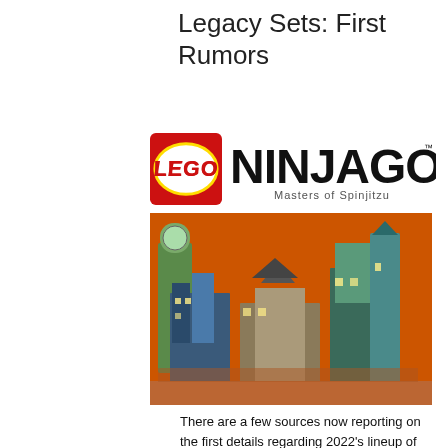Legacy Sets: First Rumors
[Figure (logo): LEGO Ninjago Masters of Spinjitzu logo — red LEGO square logo on left, large stylized NINJAGO text on right with 'Masters of Spinjitzu' subtitle]
[Figure (photo): Photo of LEGO Ninjago city sets arranged against an orange background, showing multiple detailed building structures with towers, traditional Asian architecture, and various detailed sections]
There are a few sources now reporting on the first details regarding 2022's lineup of LEGO Ninjago® sets – whose